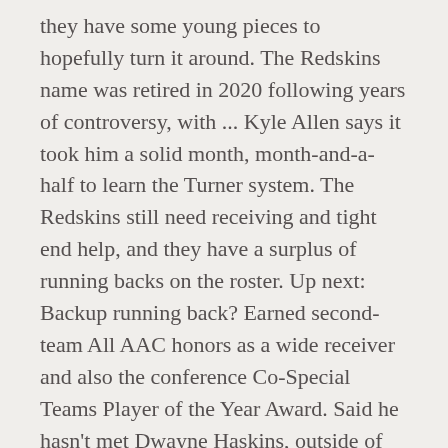they have some young pieces to hopefully turn it around. The Redskins name was retired in 2020 following years of controversy, with ... Kyle Allen says it took him a solid month, month-and-a-half to learn the Turner system. The Redskins still need receiving and tight end help, and they have a surplus of running backs on the roster. Up next: Backup running back? Earned second-team All AAC honors as a wide receiver and also the conference Co-Special Teams Player of the Year Award. Said he hasn't met Dwayne Haskins, outside of their interaction after the Carolina game, but he's looking forward to getting to know him. The quarterback played ten games for the Redskins